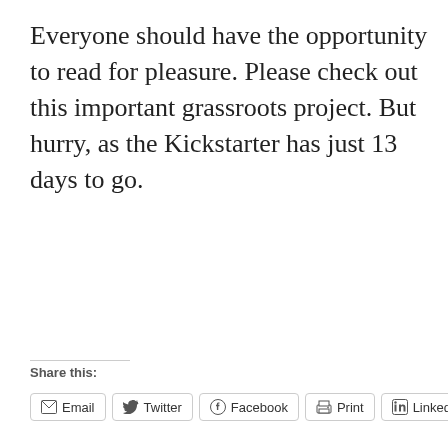Everyone should have the opportunity to read for pleasure. Please check out this important grassroots project. But hurry, as the Kickstarter has just 13 days to go.
Share this:
Email  Twitter  Facebook  Print  LinkedIn  Pinterest  More
Like
5 bloggers like this.
Related